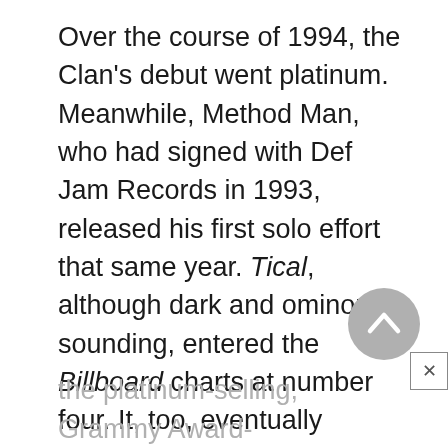Over the course of 1994, the Clan's debut went platinum. Meanwhile, Method Man, who had signed with Def Jam Records in 1993, released his first solo effort that same year. Tical, although dark and ominous-sounding, entered the Billboard charts at number four. It, too, eventually gained platinum status and spawned hit singles such as the propulsive “Bring the Pain, “the anthem-like “Release Yo Self, “and
the platinum-selling, Grammy Award-winning smash “You’re All I Need”